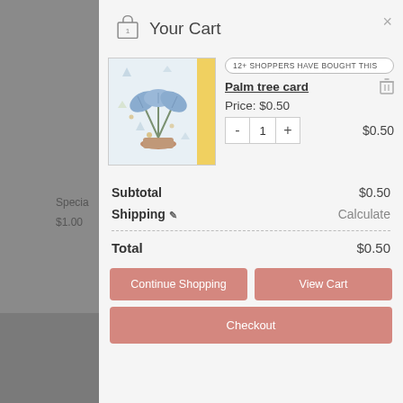Your Cart
[Figure (photo): Palm tree card product image - watercolor illustration of tropical plant in pot with yellow stripe border]
12+ SHOPPERS HAVE BOUGHT THIS
Palm tree card
Price: $0.50
- 1 + $0.50
Subtotal $0.50
Shipping Calculate
Total $0.50
Continue Shopping
View Cart
Checkout